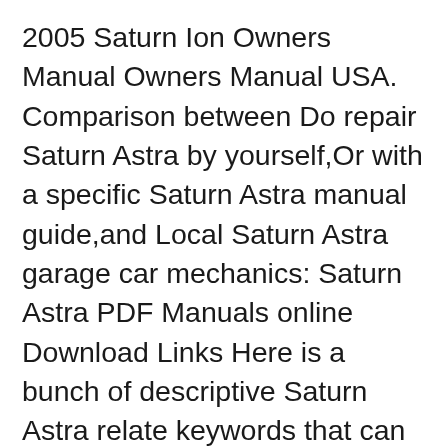2005 Saturn Ion Owners Manual Owners Manual USA. Comparison between Do repair Saturn Astra by yourself,Or with a specific Saturn Astra manual guide,and Local Saturn Astra garage car mechanics: Saturn Astra PDF Manuals online Download Links Here is a bunch of descriptive Saturn Astra relate keywords that can guide more user find this useful manual and do their own repairs by themself :, Saturn Vue Repair Manual 2002-2007 Type: PDF, zipped size: 426.70MB Instant download 2002-2007 Saturn Vue service repair manual. It is an inexpensive way to keep you machine working properly. Each manual provides step-by-step instructions based on the complete disassembly of the machine. Dwonload Service Repair Manual for Saturn Vue